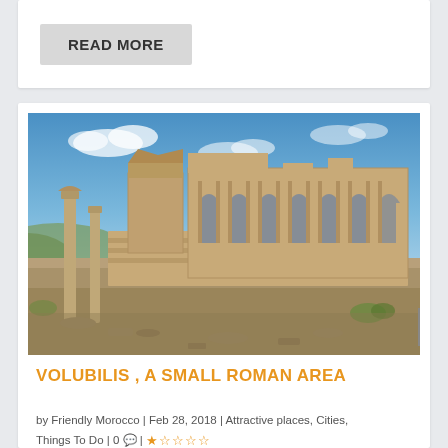READ MORE
[Figure (photo): Ancient Roman ruins of Volubilis, Morocco — stone columns and arched walls under a blue sky with scattered clouds, surrounded by excavated ground and green vegetation.]
VOLUBILIS , A SMALL ROMAN AREA
by Friendly Morocco | Feb 28, 2018 | Attractive places, Cities, Things To Do | 0 💬 | ★☆☆☆☆